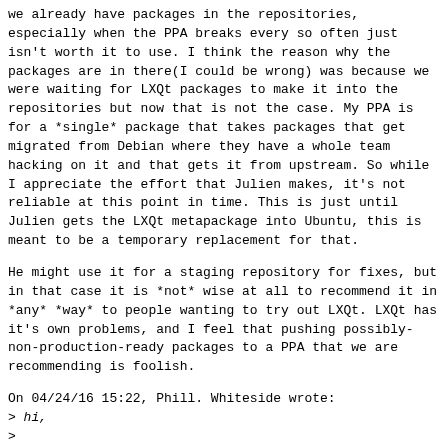we already have packages in the repositories,
especially when the PPA breaks every so often just
isn't worth it to use. I think the reason why the
packages are in there(I could be wrong) was because we
were waiting for LXQt packages to make it into the
repositories but now that is not the case. My PPA is
for a *single* package that takes packages that get
migrated from Debian where they have a whole team
hacking on it and that gets it from upstream. So while
I appreciate the effort that Julien makes, it's not
reliable at this point in time. This is just until
Julien gets the LXQt metapackage into Ubuntu, this is
meant to be a temporary replacement for that.
He might use it for a staging repository for fixes, but
in that case it is *not* wise at all to recommend it in
*any* *way* to people wanting to try out LXQt. LXQt has
it's own problems, and I feel that pushing possibly-
non-production-ready packages to a PPA that we are
recommending is foolish.
On 04/24/16 15:22, Phill. Whiteside wrote:
> hi,
>
> I do appreciate the keeness, but when faced with "it
doesn't work" I
> ran
https://wiki.ubuntu.com/phillw/LXQt#Installing_LXQt_on_f
>
> and it worked. My reasoning is therefore that we